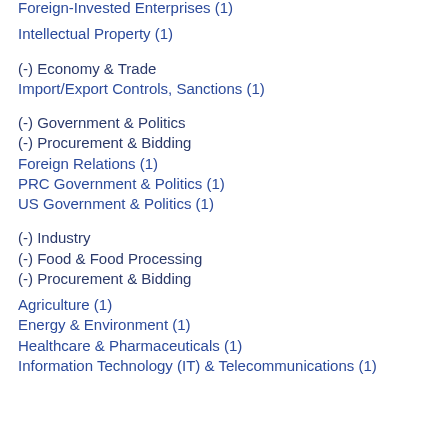Foreign-Invested Enterprises (1)
Intellectual Property (1)
(-) Economy & Trade
Import/Export Controls, Sanctions (1)
(-) Government & Politics
(-) Procurement & Bidding
Foreign Relations (1)
PRC Government & Politics (1)
US Government & Politics (1)
(-) Industry
(-) Food & Food Processing
(-) Procurement & Bidding
Agriculture (1)
Energy & Environment (1)
Healthcare & Pharmaceuticals (1)
Information Technology (IT) & Telecommunications (1)